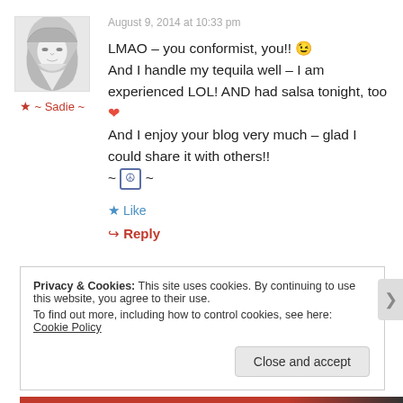[Figure (photo): Black and white pencil sketch portrait of a young woman with long wavy blonde hair]
★ ~ Sadie ~
August 9, 2014 at 10:33 pm
LMAO – you conformist, you!! 😉 And I handle my tequila well – I am experienced LOL! AND had salsa tonight, too ❤ And I enjoy your blog very much – glad I could share it with others!! ~ ☮ ~
★ Like
↪ Reply
Privacy & Cookies: This site uses cookies. By continuing to use this website, you agree to their use. To find out more, including how to control cookies, see here: Cookie Policy
Close and accept